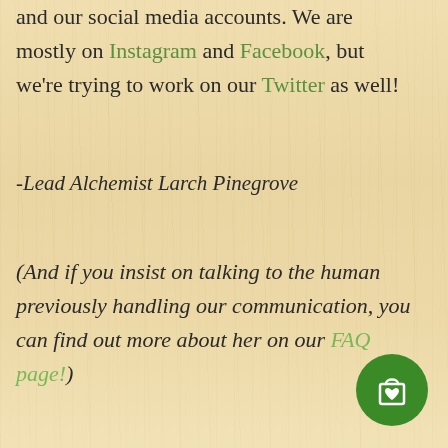and our social media accounts. We are mostly on Instagram and Facebook, but we're trying to work on our Twitter as well!
-Lead Alchemist Larch Pinegrove
(And if you insist on talking to the human previously handling our communication, you can find out more about her on our FAQ page!)
[Figure (illustration): Green circular shopping bag icon button in bottom right corner]